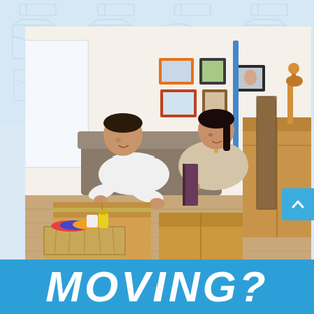[Figure (illustration): Light blue background with repeating watermark-style box/package icons in a grid pattern across the top portion of the page]
[Figure (photo): A smiling couple packing cardboard moving boxes in a bright living room. The man in a white shirt and woman in a beige sweater are sorting items. There is a wicker basket with colorful items in the foreground, a rolled carpet, and picture frames on the wall in the background. A giraffe figurine is visible on the right side.]
MOVING?